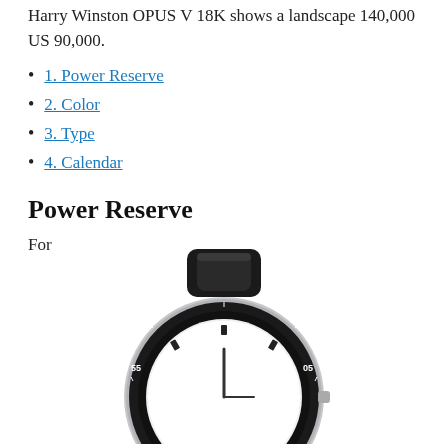Harry Winston OPUS V 18K shows a landscape 140,000 US 90,000.
1. Power Reserve
2. Color
3. Type
4. Calendar
Power Reserve
For
[Figure (photo): A diver-style wristwatch with black rubber strap and white dial, shown from above, lower portion visible with bezel markings at 55, 05, and other positions.]